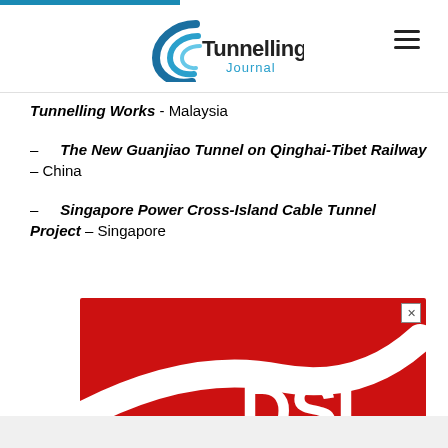Tunnelling Journal
Tunnelling Works - Malaysia
– The New Guanjiao Tunnel on Qinghai-Tibet Railway – China
– Singapore Power Cross-Island Cable Tunnel Project – Singapore
[Figure (illustration): DSI advertisement banner with red background and white DSI logo]